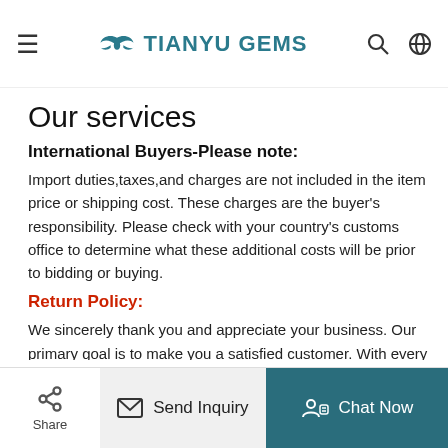≡  TIANYU GEMS  🔍 🌐
Our services
International Buyers-Please note:
Import duties,taxes,and charges are not included in the item price or shipping cost. These charges are the buyer's responsibility. Please check with your country's customs office to determine what these additional costs will be prior to bidding or buying.
Return Policy:
We sincerely thank you and appreciate your business. Our primary goal is to make you a satisfied customer. With every gemstone and jewelry item we offer a limited warranty, so you can enjoy your moissanite with......
FAQ
Share  Send Inquiry  Chat Now